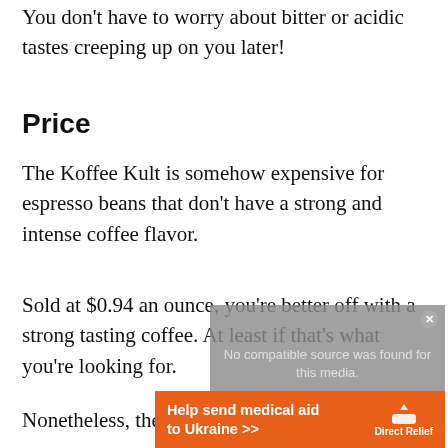You don't have to worry about bitter or acidic tastes creeping up on you later!
Price
The Koffee Kult is somehow expensive for espresso beans that don't have a strong and intense coffee flavor.
Sold at $0.94 an ounce, you're better off with a strong tasting coffee. At least if that's what you're looking for.
[Figure (screenshot): Video player overlay showing 'No compatible source was found for this media.' with a close button]
Nonetheless, the price isn't that bad if you're
[Figure (infographic): Ad banner: Help send medical aid to Ukraine >> Direct Relief]